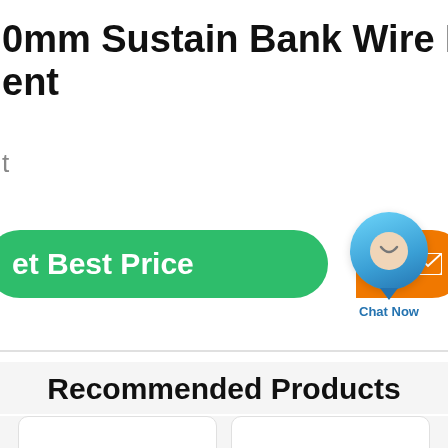0mm Sustain Bank Wire Netting ent
t
[Figure (screenshot): Green 'Get Best Price' button, blue chat bubble with 'Chat Now' label, and orange 'Contact' button side by side]
Recommended Products
[Figure (other): Two white product card placeholders side by side]